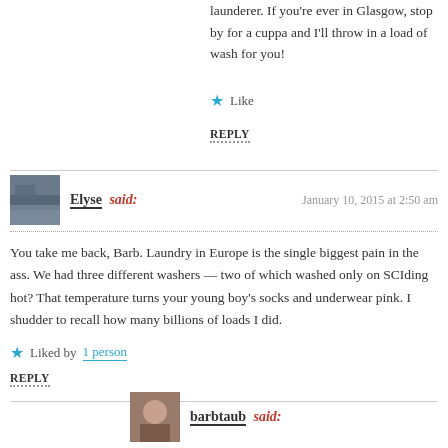launderer. If you're ever in Glasgow, stop by for a cuppa and I'll throw in a load of wash for you!
★ Like
REPLY
Elyse said:
January 10, 2015 at 2:50 am
You take me back, Barb. Laundry in Europe is the single biggest pain in the ass. We had three different washers — two of which washed only on SCIding hot? That temperature turns your young boy's socks and underwear pink. I shudder to recall how many billions of loads I did.
★ Liked by 1 person
REPLY
barbtaub said: